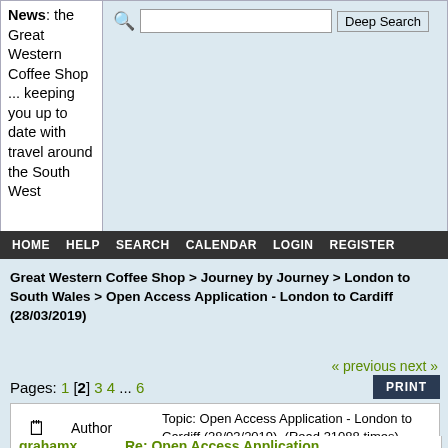News: the Great Western Coffee Shop ... keeping you up to date with travel around the South West
HOME  HELP  SEARCH  CALENDAR  LOGIN  REGISTER
Great Western Coffee Shop > Journey by Journey > London to South Wales > Open Access Application - London to Cardiff (28/03/2019)
« previous next »
Pages: 1 [2] 3 4 ... 6
|  | Author | Topic |
| --- | --- | --- |
| [icon] | Author | Topic: Open Access Application - London to Cardiff (28/03/2019)  (Read 31088 times) |
| grahamx |  | Re: Open Access Application... |
grahamx
Re: Open Access Application...